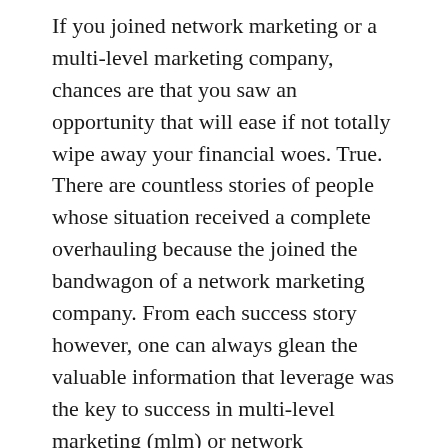If you joined network marketing or a multi-level marketing company, chances are that you saw an opportunity that will ease if not totally wipe away your financial woes. True. There are countless stories of people whose situation received a complete overhauling because the joined the bandwagon of a network marketing company. From each success story however, one can always glean the valuable information that leverage was the key to success in multi-level marketing (mlm) or network marketing. For the ease of flow in this piece, I would use mlm, multi-level marketing and network marketing interchangeably.
When you sit in the presentation of a typical